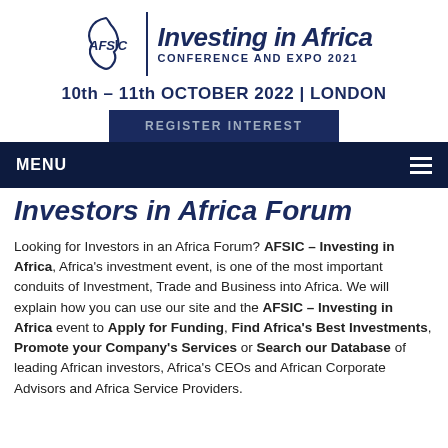[Figure (logo): AFSIC – Investing in Africa Conference and Expo 2021 logo with Africa continent outline graphic]
10th – 11th OCTOBER 2022 | LONDON
REGISTER INTEREST
MENU
Investors in Africa Forum
Looking for Investors in an Africa Forum? AFSIC – Investing in Africa, Africa's investment event, is one of the most important conduits of Investment, Trade and Business into Africa. We will explain how you can use our site and the AFSIC – Investing in Africa event to Apply for Funding, Find Africa's Best Investments, Promote your Company's Services or Search our Database of leading African investors, Africa's CEOs and African Corporate Advisors and Africa Service Providers.